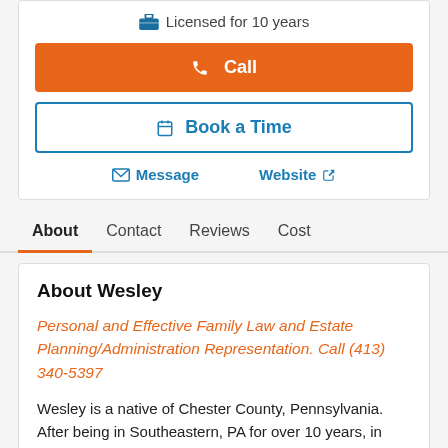Licensed for 10 years
Call
Book a Time
Message
Website
About | Contact | Reviews | Cost
About Wesley
Personal and Effective Family Law and Estate Planning/Administration Representation. Call (413) 340-5397
Wesley is a native of Chester County, Pennsylvania. After being in Southeastern, PA for over 10 years, in 2021 Wesley and his wife, Elena, moved to Western